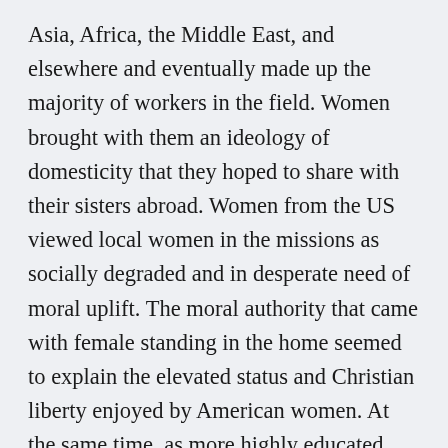Asia, Africa, the Middle East, and elsewhere and eventually made up the majority of workers in the field. Women brought with them an ideology of domesticity that they hoped to share with their sisters abroad. Women from the US viewed local women in the missions as socially degraded and in desperate need of moral uplift. The moral authority that came with female standing in the home seemed to explain the elevated status and Christian liberty enjoyed by American women. At the same time, as more highly educated single women entered the field, the movement created space for new models of womanhood. These “New Women” lived independent lives out in the world, apart from the confines of the home.